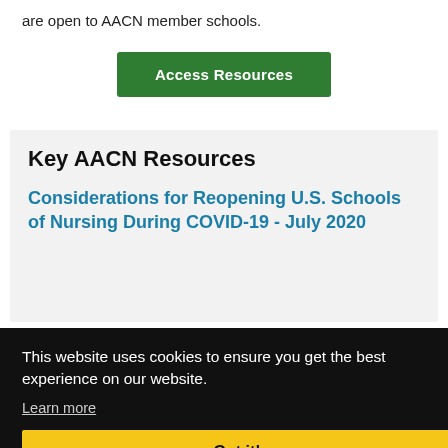are open to AACN member schools.
Access Resources
Key AACN Resources
Considerations for Reopening U.S. Schools of Nursing During COVID-19 - July 2020
This website uses cookies to ensure you get the best experience on our website.
Learn more
Got it!
Considerations for COVID-19